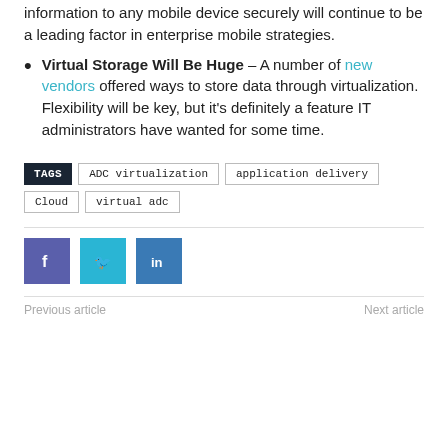information to any mobile device securely will continue to be a leading factor in enterprise mobile strategies.
Virtual Storage Will Be Huge – A number of new vendors offered ways to store data through virtualization. Flexibility will be key, but it's definitely a feature IT administrators have wanted for some time.
TAGS  ADC virtualization  application delivery  Cloud  virtual adc
[Figure (infographic): Social share buttons: Facebook (blue-purple), Twitter (light blue), LinkedIn (blue)]
Previous article  Next article